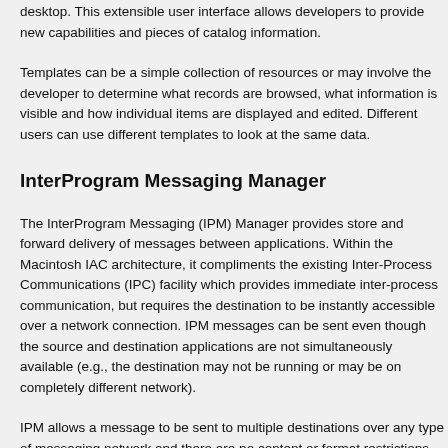desktop. This extensible user interface allows developers to provide new capabilities and pieces of catalog information.
Templates can be a simple collection of resources or may involve the developer to determine what records are browsed, what information is visible and how individual items are displayed and edited. Different users can use different templates to look at the same data.
InterProgram Messaging Manager
The InterProgram Messaging (IPM) Manager provides store and forward delivery of messages between applications. Within the Macintosh IAC architecture, it compliments the existing Inter-Process Communications (IPC) facility which provides immediate inter-process communication, but requires the destination to be instantly accessible over a network connection. IPM messages can be sent even though the source and destination applications are not simultaneously available (e.g., the destination may not be running or may be on completely different network).
IPM allows a message to be sent to multiple destinations over any type of messaging network and there are no content or format restrictions. IPM messages are delivered via Message Service Access Modules (MSAMs) and can therefore be sent to virtually any destination. Examples include a computer on the same local area network, a computer accessible over a dial up connection, a fax machine, an email system such as MHS™ or PROFS™ or a public messaging network such as A
Standard Mail Package
Electronic mail is one use of AOCE messaging. Mail messages are special in that they are sent to users rather than applications and are distinguished from other AOCE messag